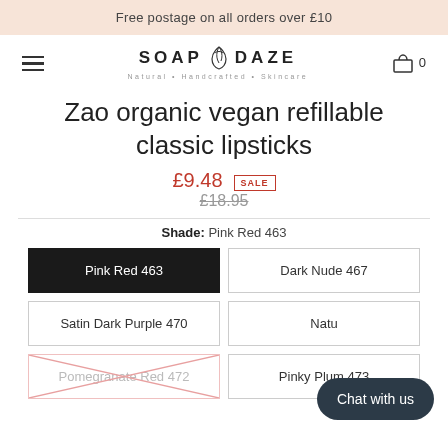Free postage on all orders over £10
[Figure (logo): Soap Daze logo with leaf icon, tagline: Natural • Handcrafted • Skincare]
Zao organic vegan refillable classic lipsticks
£9.48 SALE £18.95
Shade: Pink Red 463
Pink Red 463 (selected)
Dark Nude 467
Satin Dark Purple 470
Natu...
Pomegranate Red 472 (out of stock)
Pinky Plum 473
Chat with us